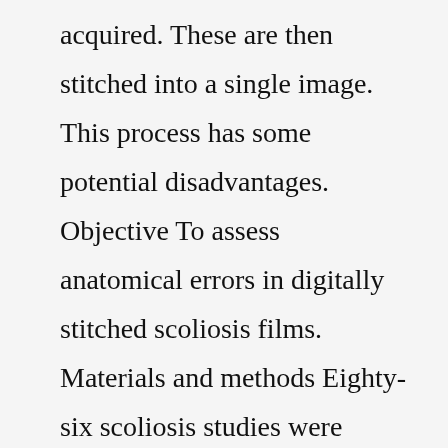acquired. These are then stitched into a single image. This process has some potential disadvantages. Objective To assess anatomical errors in digitally stitched scoliosis films. Materials and methods Eighty-six scoliosis studies were evaluated for stitching errors. The ... Advanced imaging experts. Using the latest state-of-the-art technology, Advocate Condell Medical Center provides a wide range of imaging services under the direction of